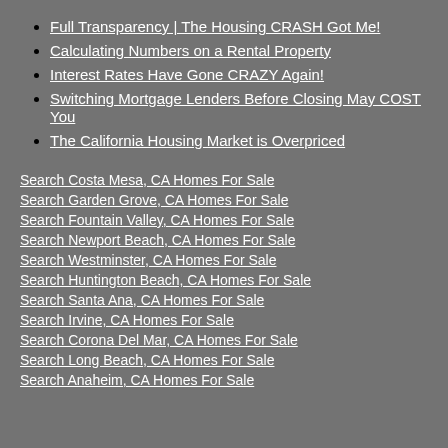Full Transparency | The Housing CRASH Got Me!
Calculating Numbers on a Rental Property
Interest Rates Have Gone CRAZY Again!
Switching Mortgage Lenders Before Closing May COST You
The California Housing Market is Overpriced
Search Costa Mesa, CA Homes For Sale
Search Garden Grove, CA Homes For Sale
Search Fountain Valley, CA Homes For Sale
Search Newport Beach, CA Homes For Sale
Search Westminster, CA Homes For Sale
Search Huntington Beach, CA Homes For Sale
Search Santa Ana, CA Homes For Sale
Search Irvine, CA Homes For Sale
Search Corona Del Mar, CA Homes For Sale
Search Long Beach, CA Homes For Sale
Search Anaheim, CA Homes For Sale